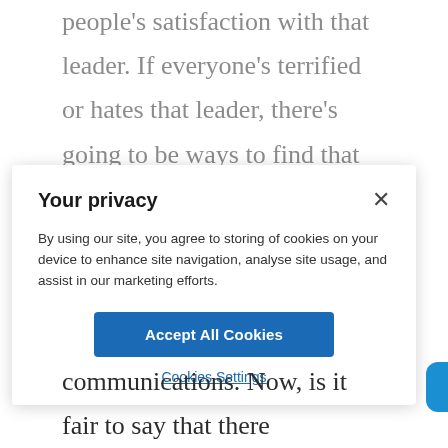people's satisfaction with that leader. If everyone's terrified or hates that leader, there's going to be ways to find that out even if that person is a dictator, and makes it very hard to like they punish people for saying bad things
Your privacy
By using our site, you agree to storing of cookies on your device to enhance site navigation, analyse site usage, and assist in our marketing efforts.
Accept All Cookies
Cookies Settings
communications. Now, is it fair to say that there